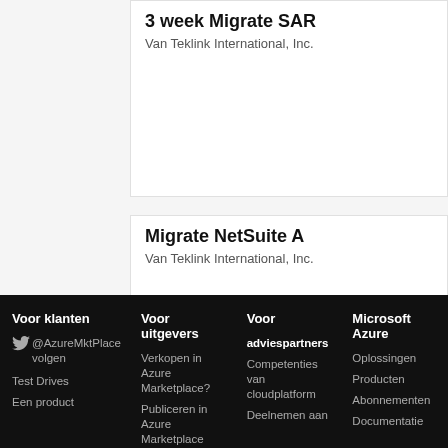3 week Migrate SAR
Van Teklink International, Inc.
Migrate NetSuite A
Van Teklink International, Inc.
Voor klanten | Voor uitgevers | Voor adviespartners | Microsoft Azure | @AzureMktPlace volgen | Test Drives | Een product | Verkopen in Azure Marketplace? | Publiceren in Azure Marketplace | adviespartners | Competenties van cloudplatform | Deelnemen aan | Oplossingen | Producten | Abonnementen | Documentatie